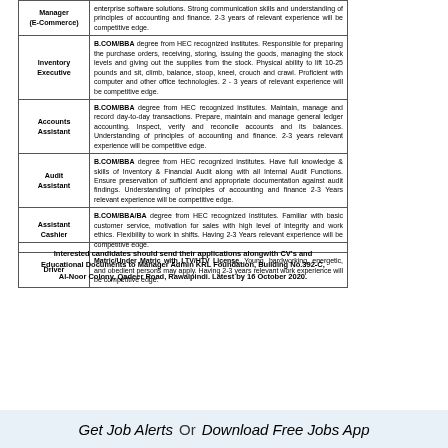| Position | Requirements |
| --- | --- |
| Manager (E-Commerce) | enterprise software solutions. Strong communication skills and understanding of principles of accounting and finance. 2-3 years of relevant experience will be competitive edge. |
| Inventory Executive | B.COM/BBA degree from HEC recognized institutes. Responsible for preparing the purchase orders, receiving, storing, issuing the goods, managing the stock levels and giving out the supplies from the stock. Physical ability to lift 10-25 pounds and sit, climb, balance, stoop, kneel, crouch and crawl. Proficient with computer and other office technologies. 2 - 3 years of relevant experience will be competitive edge. |
| Accounts Assistant | B.COM/BBA degree from HEC recognized institutes. Maintain, manage and record day-to-day transactions. Prepare, maintain and manage general ledger accounting. Inspect, verify and reconcile accounts and its balances. Understanding of principles of accounting and finance. 2-3 years relevant experience will be competitive edge. |
| Audit Assistant | B.COM/BBA degree from HEC recognized institutes. Have full knowledge & skills of Inventory & Financial Audit along with all Internal Audit Functions. Ensure preservation of sufficient and appropriate documentation against audit findings. Understanding of principles of accounting and finance 2-3 Years relevant experience will be competitive edge. |
| Assistant Cashier | B.COM/BBA/BA degree from HEC recognized institutes. Familiar with basic customer service, motivation for sales with high level of integrity and work ethics. Flexibility to work in shifts. Having 2-3 Years relevant experience will be competitive edge. |
| Driver | Matric/Under Matric with LTV/HTV License. Young, hardworking, energetic, and obedient persons may apply. Having 2-3 years relevant work experience will be competitive edge. |
Interested candidates should send their applications alongwith CV's and Educational Documents to Manager Admin KRL Foundation, Building No.392-C, Al-Noor Colony, Qadeer Road, Rawalpindi. Latest by 16 October 2020.
Get Job Alerts  Or  Download Free Jobs App